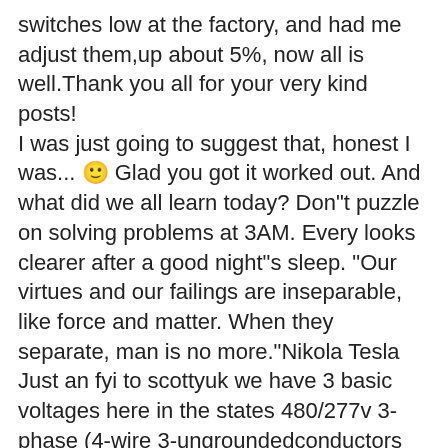switches low at the factory, and had me adjust them,up about 5%, now all is well.Thank you all for your very kind posts!
I was just going to suggest that, honest I was... 🙂 Glad you got it worked out. And what did we all learn today? Don"t puzzle on solving problems at 3AM. Every looks clearer after a good night"s sleep. "Our virtues and our failings are inseparable, like force and matter. When they separate, man is no more."Nikola Tesla
Just an fyi to scottyuk we have 3 basic voltages here in the states 480/277v 3-phase (4-wire 3-ungroundedconductors and one grounded conductor) this transforms down to 208/120v 3-phase (4-wire 3-ungroundedconductors and one grounded conductor). Then on our small commercial and residential areas we have 120/240v3-phase again (4-wire 3-ungrounded conductors and one grounded conductor. And 120/240 single phase with